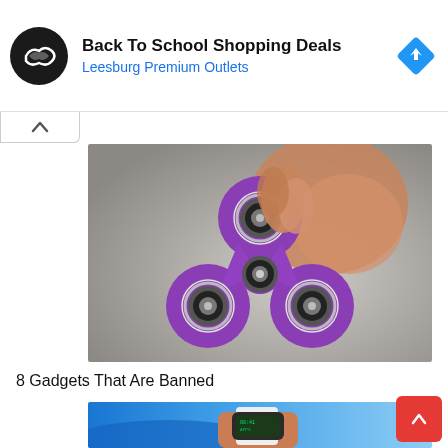[Figure (screenshot): Advertisement banner: Back To School Shopping Deals at Leesburg Premium Outlets, with circular black logo and blue diamond navigation icon]
[Figure (photo): Hand holding a purple fidget spinner with metal bearings, close-up shot against blurred grey background]
8 Gadgets That Are Banned
[Figure (photo): Person wearing blue shirt with Apple Watch on wrist, showing green display]